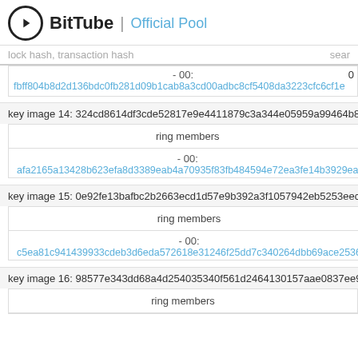BitTube | Official Pool
lock hash, transaction hash    sear
- 00: fbff804b8d2d136bdc0fb281d09b1cab8a3cd00adbc8cf5408da3223cfc6cf1e
key image 14: 324cd8614df3cde52817e9e4411879c3a344e05959a99464b81...
| ring members |
| --- |
| - 00: |
| afa2165a13428b623efa8d3389eab4a70935f83fb484594e72ea3fe14b3929ea |
key image 15: 0e92fe13bafbc2b2663ecd1d57e9b392a3f1057942eb5253eec99...
| ring members |
| --- |
| - 00: |
| c5ea81c941439933cdeb3d6eda572618e31246f25dd7c340264dbb69ace2536 |
key image 16: 98577e343dd68a4d254035340f561d2464130157aae0837ee92...
| ring members |
| --- |